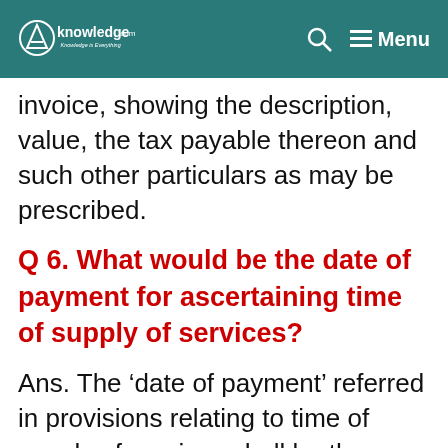CA Knowledge.com — Knowledge is Everything
invoice, showing the description, value, the tax payable thereon and such other particulars as may be prescribed.
Q 6. What would be the date of payment for ascertaining time of supply of services?
Ans. The ‘date of payment’ referred in provisions relating to time of supply of services shall be the earliest of the following: